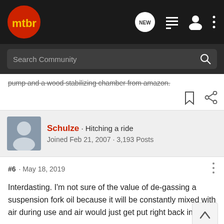[Figure (screenshot): MTBR community forum website header with logo, search bar, navigation icons]
pump and a wood stabilizing chamber from amazon.
Schulze · Hitching a ride
Joined Feb 21, 2007 · 3,193 Posts
#6 · May 18, 2019
Interdasting. I'm not sure of the value of de-gassing a suspension fork oil because it will be constantly mixed with air during use and air would just get put right back in.
[Figure (screenshot): Cabela's advertisement banner showing Highest-Rated Gear with a crossbow image and 4.9 rating]